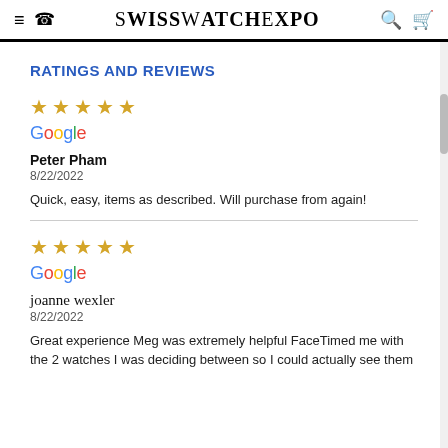SwissWatchExpo
RATINGS AND REVIEWS
★★★★★
Google
Peter Pham
8/22/2022
Quick, easy, items as described. Will purchase from again!
★★★★★
Google
joanne wexler
8/22/2022
Great experience Meg was extremely helpful FaceTimed me with the 2 watches I was deciding between so I could actually see them